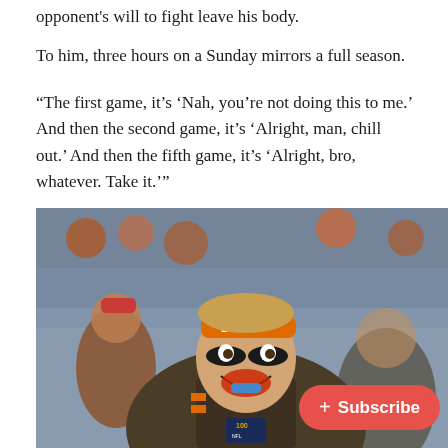opponent's will to fight leave his body.
To him, three hours on a Sunday mirrors a full season.
“The first game, it’s ‘Nah, you’re not doing this to me.’ And then the second game, it’s ‘Alright, man, chill out.’ And then the fifth game, it’s ‘Alright, bro, whatever. Take it.’”
[Figure (photo): A Cleveland Browns football player celebrating on the sideline, wearing a brown and orange uniform with number 7x, an orange BROWNS headband, black eye black, and a blue mouthguard, smiling widely. An NFL 100 logo patch is visible on the uniform. A pink Subscribe button overlay appears in the bottom right.]